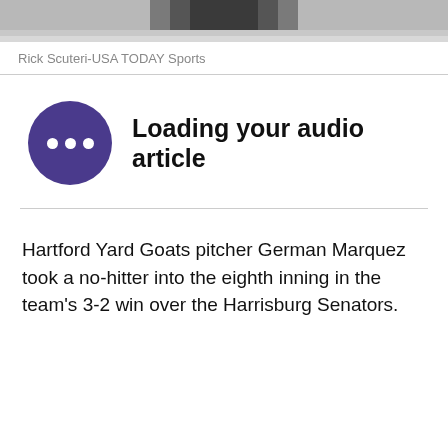[Figure (photo): Top portion of a person's photo, cropped to show only the top of the head/neck area against a light background]
Rick Scuteri-USA TODAY Sports
[Figure (infographic): Audio article player widget with purple circle containing three white dots and text 'Loading your audio article']
Hartford Yard Goats pitcher German Marquez took a no-hitter into the eighth inning in the team's 3-2 win over the Harrisburg Senators.